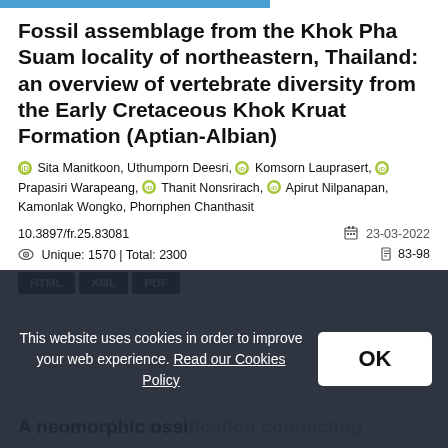Fossil assemblage from the Khok Pha Suam locality of northeastern, Thailand: an overview of vertebrate diversity from the Early Cretaceous Khok Kruat Formation (Aptian-Albian)
Sita Manitkoon, Uthumporn Deesri, Komsorn Lauprasert, Prapasiri Warapeang, Thanit Nonsrirach, Apirut Nilpanapan, Kamonlak Wongko, Phornphen Chanthasit
10.3897/fr.25.83081
23-03-2022
Unique: 1570 | Total: 2300
83-98
HTML XML PDF
This website uses cookies in order to improve your web experience. Read our Cookies Policy
A neomorphic ossification connecting